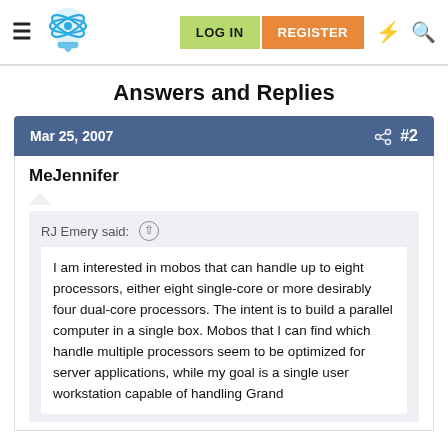LOG IN | REGISTER
Answers and Replies
Mar 25, 2007  #2
MeJennifer
RJ Emery said:
I am interested in mobos that can handle up to eight processors, either eight single-core or more desirably four dual-core processors. The intent is to build a parallel computer in a single box. Mobos that I can find which handle multiple processors seem to be optimized for server applications, while my goal is a single user workstation capable of handling Grand